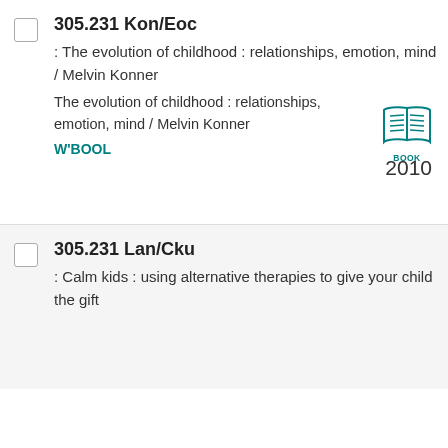305.231 Kon/Eoc
: The evolution of childhood : relationships, emotion, mind / Melvin Konner
The evolution of childhood : relationships, emotion, mind / Melvin Konner
W'BOOL
2010
305.231 Lan/Cku
: Calm kids : using alternative therapies to give your child the gift